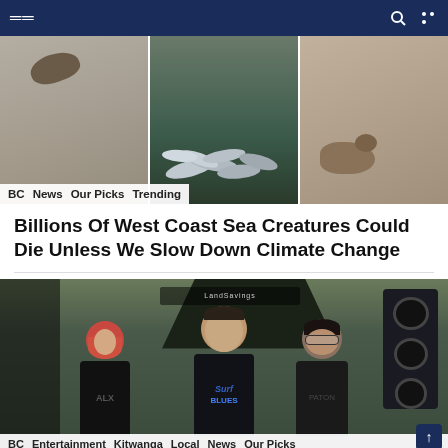Navigation bar with menu and icons
[Figure (photo): Three panels: left shows a bird/creature on pavement, center shows dead sea creatures (mussels/fish) on shore, right shows a dead animal on sand]
BC  News  Our Picks  Trending
Billions Of West Coast Sea Creatures Could Die Unless We Slow Down Climate Change
[Figure (photo): Three people smiling at an outdoor event, wearing black t-shirts. Left person has red hair. Center person is taller. Background shows a dark tent/canopy with 'LandSavings' branding and speakers.]
BC  Entertainment  Kitwanga  Local  News  Our Picks